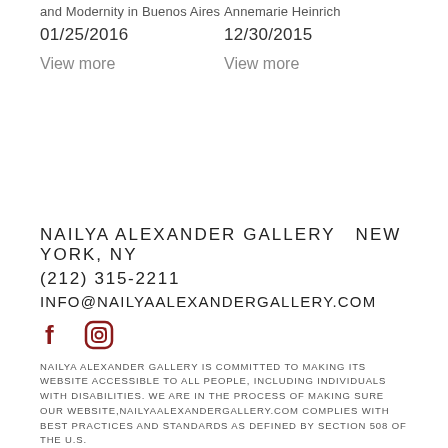and Modernity in Buenos Aires  01/25/2016
Annemarie Heinrich  12/30/2015
View more
View more
NAILYA ALEXANDER GALLERY  NEW YORK, NY
(212) 315-2211
INFO@NAILYAALEXANDERGALLERY.COM
[Figure (illustration): Facebook and Instagram social media icons in dark red/maroon color]
NAILYA ALEXANDER GALLERY IS COMMITTED TO MAKING ITS WEBSITE ACCESSIBLE TO ALL PEOPLE, INCLUDING INDIVIDUALS WITH DISABILITIES. WE ARE IN THE PROCESS OF MAKING SURE OUR WEBSITE,NAILYAALEXANDERGALLERY.COM COMPLIES WITH BEST PRACTICES AND STANDARDS AS DEFINED BY SECTION 508 OF THE U.S.